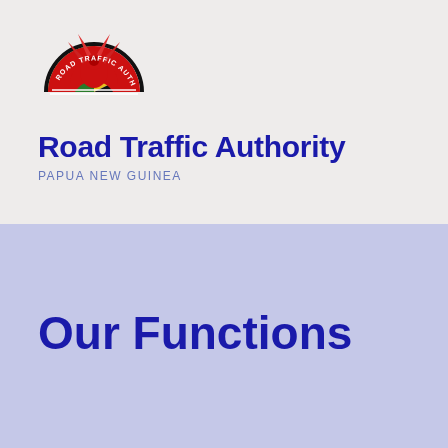[Figure (logo): Road Traffic Authority Papua New Guinea logo — semicircular emblem with text 'ROAD TR' around the top arc, featuring a stylized bird of paradise on red fan shape, with green and yellow lower sections]
Road Traffic Authority
PAPUA NEW GUINEA
Our Functions